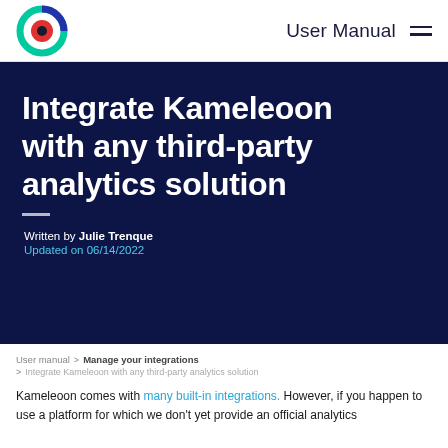User Manual
Integrate Kameleoon with any third-party analytics solution
Written by Julie Trenque
Updated on 06/14/2022
User manual > Manage your integrations > Integrate Kameleoon with any third-party analytics solution
Kameleoon comes with many built-in integrations. However, if you happen to use a platform for which we don't yet provide an official analytics